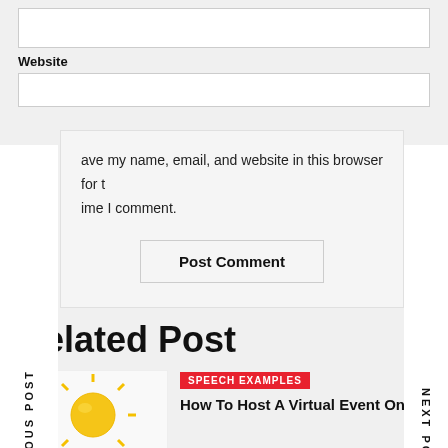[input box — top]
Website
[input box — website]
ave my name, email, and website in this browser for the next time I comment.
Post Comment
PREVIOUS POST
NEXT POST
Related Post
SPEECH EXAMPLES
How To Host A Virtual Event On